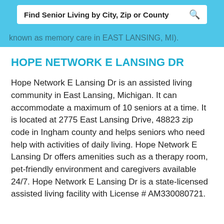Find Senior Living by City, Zip or County
known as memory care in EAST LANSING, MI).
HOPE NETWORK E LANSING DR
Hope Network E Lansing Dr is an assisted living community in East Lansing, Michigan. It can accommodate a maximum of 10 seniors at a time. It is located at 2775 East Lansing Drive, 48823 zip code in Ingham county and helps seniors who need help with activities of daily living. Hope Network E Lansing Dr offers amenities such as a therapy room, pet-friendly environment and caregivers available 24/7. Hope Network E Lansing Dr is a state-licensed assisted living facility with License # AM330080721.